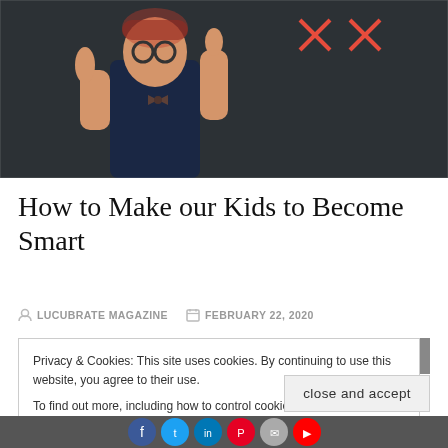[Figure (photo): A young boy dressed in a suit and bow tie, wearing round glasses, giving a thumbs up and pointing upward against a blackboard background]
How to Make our Kids to Become Smart
LUCUBRATE MAGAZINE   FEBRUARY 22, 2020
Privacy & Cookies: This site uses cookies. By continuing to use this website, you agree to their use.
To find out more, including how to control cookies, see here: Cookie Policy
close and accept